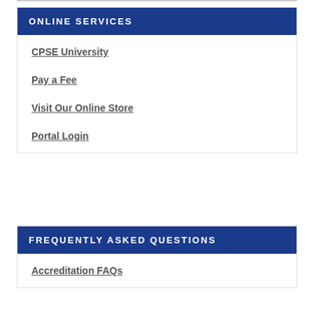ONLINE SERVICES
CPSE University
Pay a Fee
Visit Our Online Store
Portal Login
FREQUENTLY ASKED QUESTIONS
Accreditation FAQs